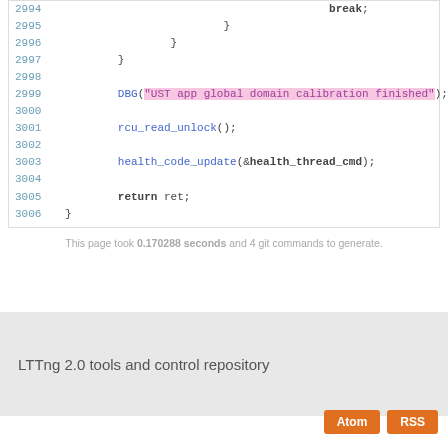Code block showing lines 2994-3006 of source code
This page took 0.170288 seconds and 4 git commands to generate.
LTTng 2.0 tools and control repository
Atom  RSS